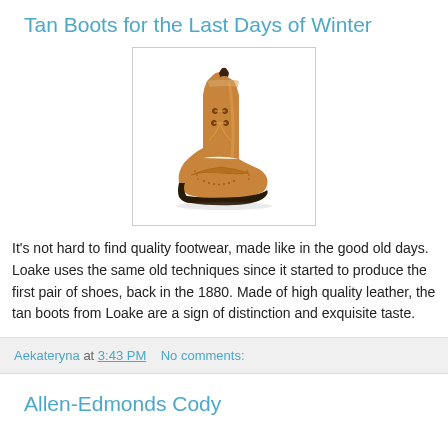Tan Boots for the Last Days of Winter
[Figure (photo): A tan leather brogue chukka boot from Loake, shown on a white background inside a bordered box.]
It's not hard to find quality footwear, made like in the good old days. Loake uses the same old techniques since it started to produce the first pair of shoes, back in the 1880. Made of high quality leather, the tan boots from Loake are a sign of distinction and exquisite taste.
Aekateryna at 3:43 PM   No comments:
Allen-Edmonds Cody